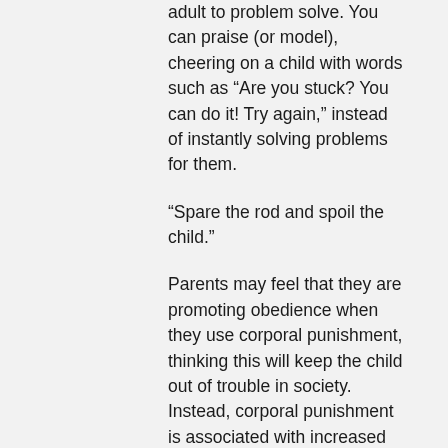adult to problem solve. You can praise (or model), cheering on a child with words such as “Are you stuck? You can do it! Try again,” instead of instantly solving problems for them.
“Spare the rod and spoil the child.”
Parents may feel that they are promoting obedience when they use corporal punishment, thinking this will keep the child out of trouble in society. Instead, corporal punishment is associated with increased aggression toward peers, as well as defiance toward parents. These effects are especially strong when mothers are distant emotionally. As pediatricians, we can educate people on the importance of warm parenting, redirection instead of punishment for